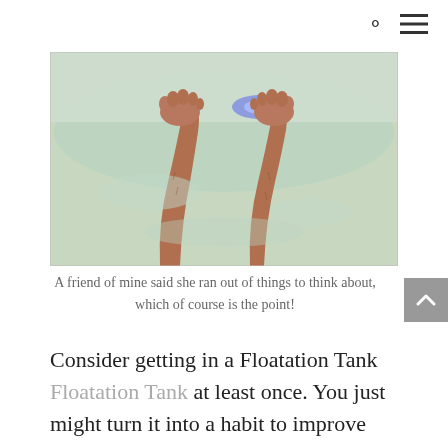🔍 ≡
[Figure (photo): A person's bare legs and feet floating in a floatation tank filled with pale greenish-blue water, with a blue light glowing at the back of the tank.]
A friend of mine said she ran out of things to think about, which of course is the point!
Consider getting in a Floatation Tank Floatation Tank at least once. You just might turn it into a habit to improve